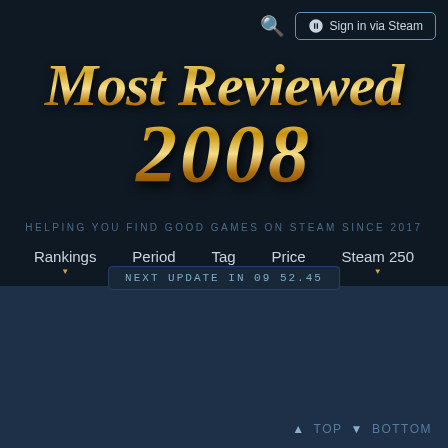[Figure (screenshot): Steam website screenshot showing 'Most Reviewed 2008' page header with gold metallic title text on dark navy background, navigation bar with Rankings, Period, Tag, Price, Steam 250 dropdowns, and an update timer badge.]
Most Reviewed 2008
HELPING YOU FIND GOOD GAMES on STEAM since 2017
Rankings  Period  Tag  Price  Steam 250
NEXT UPDATE IN 09 52.45
▲ TOP  ▼ BOTTOM